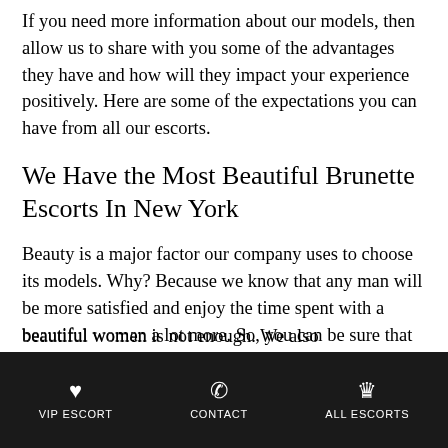If you need more information about our models, then allow us to share with you some of the advantages they have and how will they impact your experience positively. Here are some of the expectations you can have from all our escorts.
We Have the Most Beautiful Brunette Escorts In New York
Beauty is a major factor our company uses to choose its models. Why? Because we know that any man will be more satisfied and enjoy the time spent with a beautiful woman a lot more. So, you can be sure that all the models in our agency will meet the highest standards of beauty.
VIP ESCORT   CONTACT   ALL ESCORTS
beautiful women is not enough. We also